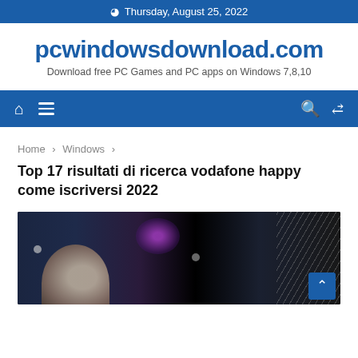Thursday, August 25, 2022
pcwindowsdownload.com
Download free PC Games and PC apps on Windows 7,8,10
[Figure (screenshot): Navigation bar with home icon, hamburger menu, search and shuffle icons on blue background]
Home › Windows ›
Top 17 risultati di ricerca vodafone happy come iscriversi 2022
[Figure (screenshot): Dark screenshot showing a face/figure silhouette with purple lighting and striped background pattern, with a blue scroll-to-top button in bottom right corner]